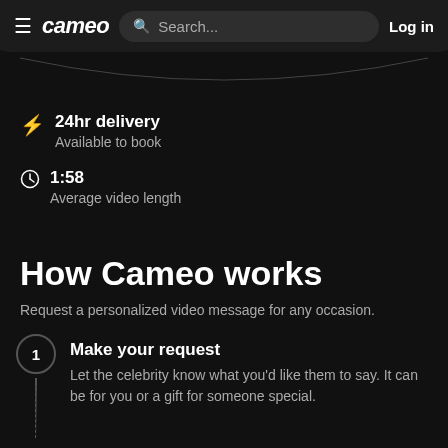cameo  Search...  Log in
⚡ 24hr delivery
Available to book
🕐 1:58
Average video length
How Cameo works
Request a personalized video message for any occasion.
1 Make your request
Let the celebrity know what you'd like them to say. It can be for you or a gift for someone special.